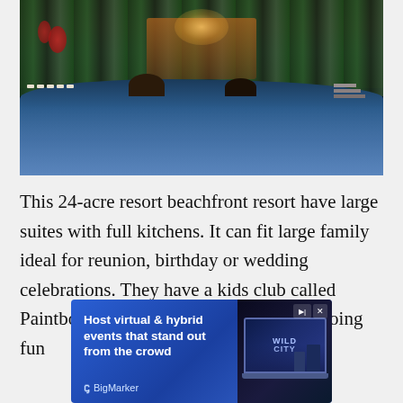[Figure (photo): Aerial/ground-level evening view of a tropical beachfront resort with illuminated buildings, lush palm trees and tropical plants, lounge chairs by a large curved pool with blue water and rock formations]
This 24-acre resort beachfront resort have large suites with full kitchens. It can fit large family ideal for reunion, birthday or wedding celebrations. They have a kids club called Paintbox, where they can spend all day doing fun
[Figure (screenshot): Advertisement banner for BigMarker: 'Host virtual & hybrid events that stand out from the crowd' with BigMarker logo and a screenshot of the Wild City event platform interface]